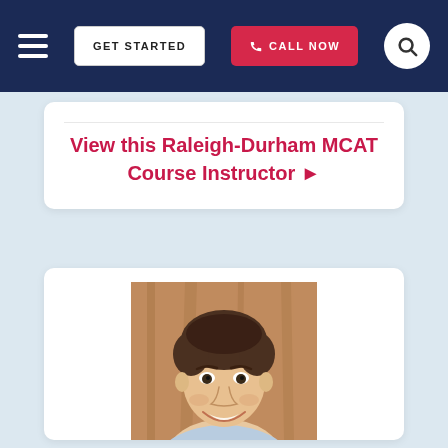Navigation bar with hamburger menu, GET STARTED button, CALL NOW button, and search icon
View this Raleigh-Durham MCAT Course Instructor ▶
[Figure (photo): Headshot of a young man with short dark hair, smiling, wearing a light blue shirt, photographed against a warm wooden background.]